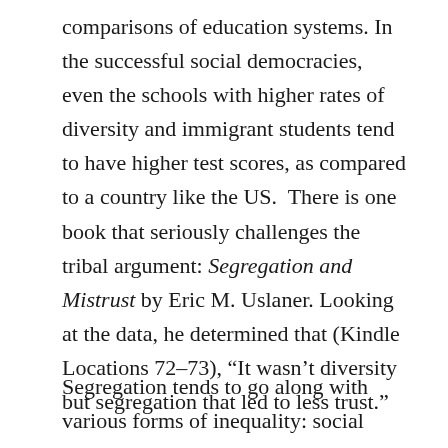comparisons of education systems. In the successful social democracies, even the schools with higher rates of diversity and immigrant students tend to have higher test scores, as compared to a country like the US. There is one book that seriously challenges the tribal argument: Segregation and Mistrust by Eric M. Uslaner. Looking at the data, he determined that (Kindle Locations 72–73), “It wasn’t diversity but segregation that led to less trust.”
Segregation tends to go along with various forms of inequality: social